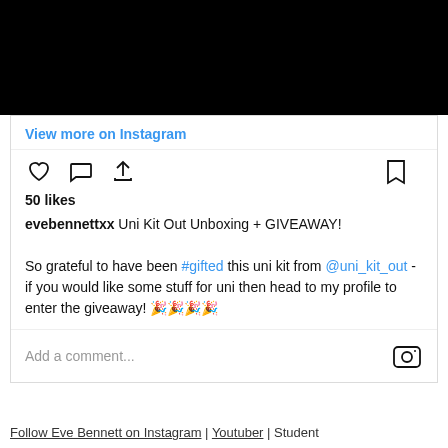[Figure (photo): Black rectangle representing a video/image thumbnail area at the top of an Instagram post]
View more on Instagram
[Figure (other): Instagram action icons: heart (like), comment bubble, share arrow, and bookmark icon]
50 likes
evebennettxx Uni Kit Out Unboxing + GIVEAWAY!

So grateful to have been #gifted this uni kit from @uni_kit_out - if you would like some stuff for uni then head to my profile to enter the giveaway! 🎉🎉🎉🎉
Add a comment...
Follow Eve Bennett on Instagram | Youtuber | Student